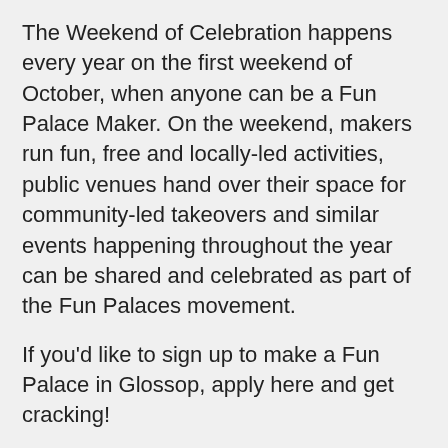The Weekend of Celebration happens every year on the first weekend of October, when anyone can be a Fun Palace Maker. On the weekend, makers run fun, free and locally-led activities, public venues hand over their space for community-led takeovers and similar events happening throughout the year can be shared and celebrated as part of the Fun Palaces movement.
If you'd like to sign up to make a Fun Palace in Glossop, apply here and get cracking!
https://funpalaces.co.uk/register/?referrer=https://funpalaces.co.uk/create